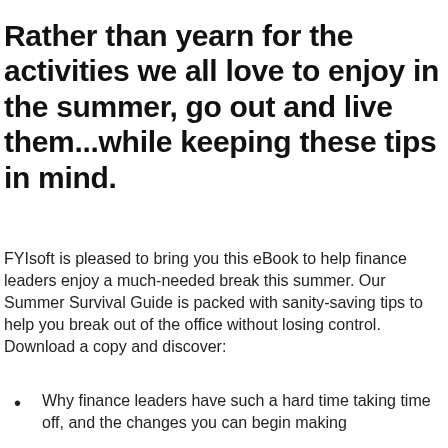Rather than yearn for the activities we all love to enjoy in the summer, go out and live them...while keeping these tips in mind.
FYIsoft is pleased to bring you this eBook to help finance leaders enjoy a much-needed break this summer. Our Summer Survival Guide is packed with sanity-saving tips to help you break out of the office without losing control. Download a copy and discover:
Why finance leaders have such a hard time taking time off, and the changes you can begin making